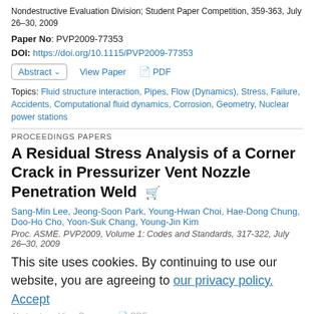Nondestructive Evaluation Division; Student Paper Competition, 359-363, July 26–30, 2009
Paper No: PVP2009-77353
DOI: https://doi.org/10.1115/PVP2009-77353
Abstract  View Paper  PDF
Topics: Fluid structure interaction, Pipes, Flow (Dynamics), Stress, Failure, Accidents, Computational fluid dynamics, Corrosion, Geometry, Nuclear power stations
PROCEEDINGS PAPERS
A Residual Stress Analysis of a Corner Crack in Pressurizer Vent Nozzle Penetration Weld
Sang-Min Lee, Jeong-Soon Park, Young-Hwan Choi, Hae-Dong Chung, Doo-Ho Cho, Yoon-Suk Chang, Young-Jin Kim
Proc. ASME. PVP2009, Volume 1: Codes and Standards, 317-322, July 26–30, 2009
This site uses cookies. By continuing to use our website, you are agreeing to our privacy policy. Accept